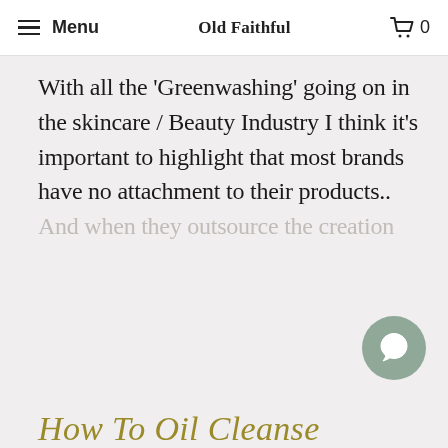Menu   Old Faithful   0
With all the 'Greenwashing' going on in the skincare / Beauty Industry I think it's important to highlight that most brands have no attachment to their products.. And when they outsource the creation
[Figure (other): Chat bubble icon - circular grey button with speech bubble icon]
How To Oil Cleanse